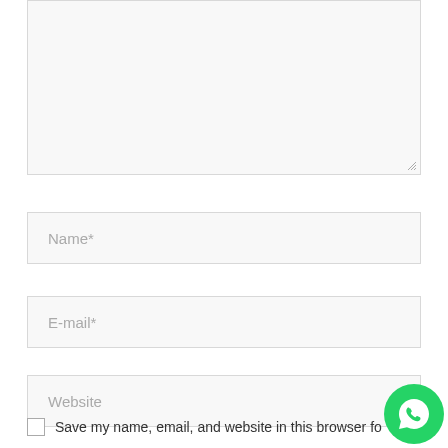[Figure (screenshot): Textarea input box with resize handle at bottom-right, light gray background with border]
Name*
E-mail*
Website
Save my name, email, and website in this browser fo
[Figure (logo): WhatsApp green circle icon with phone handset symbol]